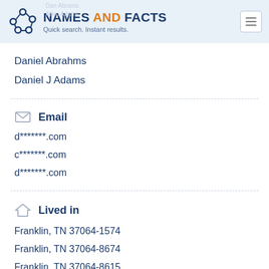NAMES AND FACTS — Quick search. Instant results.
Daniel Abrahms
Daniel J Adams
Email
d*******.com
c*******.com
d*******.com
Lived in
Franklin, TN 37064-1574
Franklin, TN 37064-8674
Franklin, TN 37064-8615